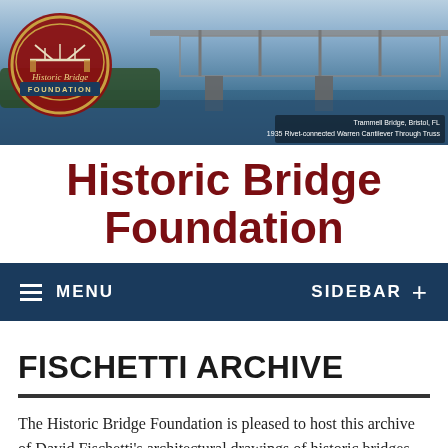[Figure (photo): Website banner showing a historic bridge (Trammell Bridge, Bristol, FL — 1935 Rivet-connected Warren Cantilever Through Truss) with Historic Bridge Foundation logo overlay on the left side.]
Historic Bridge Foundation
MENU   SIDEBAR +
FISCHETTI ARCHIVE
The Historic Bridge Foundation is pleased to host this archive of David Fischetti's architectural drawings of historic bridges courtesy of the Fischetti family.